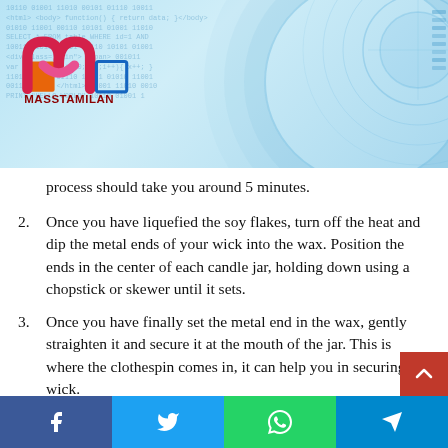[Figure (logo): Masstamilan logo with colorful M-shape icon and text MASSTAMILAN in red/maroon on a light blue tech background banner]
process should take you around 5 minutes.
2. Once you have liquefied the soy flakes, turn off the heat and dip the metal ends of your wick into the wax. Position the ends in the center of each candle jar, holding down using a chopstick or skewer until it sets.
3. Once you have finally set the metal end in the wax, gently straighten it and secure it at the mouth of the jar. This is where the clothespin comes in, it can help you in securing the wick.
4. Carefully and gently pour the wax into each jar. It's easier to do this using a measuring cup or bowl designed for pouring liquids. Now add the essential oils (both laven